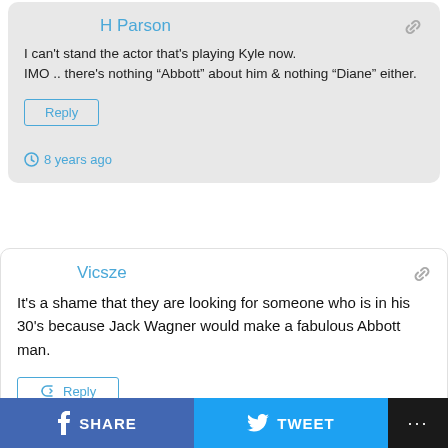H Parson
I can't stand the actor that's playing Kyle now.
IMO .. there's nothing “Abbott” about him & nothing “Diane” either.
Reply
8 years ago
Vicsze
It's a shame that they are looking for someone who is in his 30's because Jack Wagner would make a fabulous Abbott man.
Reply
8 years ago
SHARE
TWEET